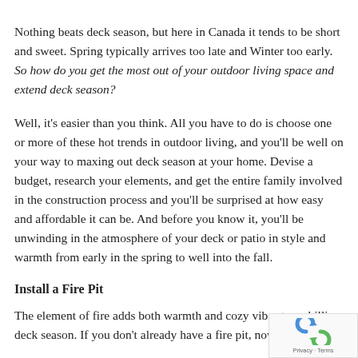Nothing beats deck season, but here in Canada it tends to be short and sweet. Spring typically arrives too late and Winter too early. So how do you get the most out of your outdoor living space and extend deck season?
Well, it's easier than you think. All you have to do is choose one or more of these hot trends in outdoor living, and you'll be well on your way to maxing out deck season at your home. Devise a budget, research your elements, and get the entire family involved in the construction process and you'll be surprised at how easy and affordable it can be. And before you know it, you'll be unwinding in the atmosphere of your deck or patio in style and warmth from early in the spring to well into the fall.
Install a Fire Pit
The element of fire adds both warmth and cozy vibes to a chillier deck season. If you don't already have a fire pit, now is